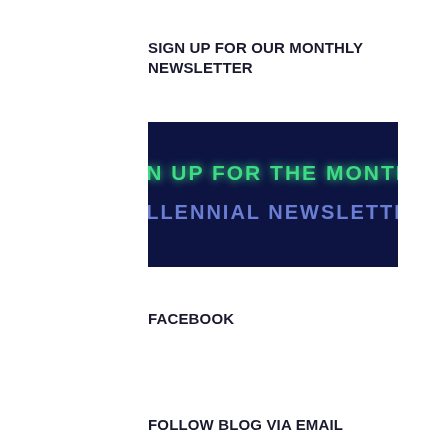SIGN UP FOR OUR MONTHLY NEWSLETTER
[Figure (illustration): Dark navy blue banner image with neon-style text reading 'SIGN UP FOR THE MONTHLY MILLENNIAL NEWSLETTER'. The first line is in green neon font and the second line is in purple/blue neon font.]
FACEBOOK
FOLLOW BLOG VIA EMAIL